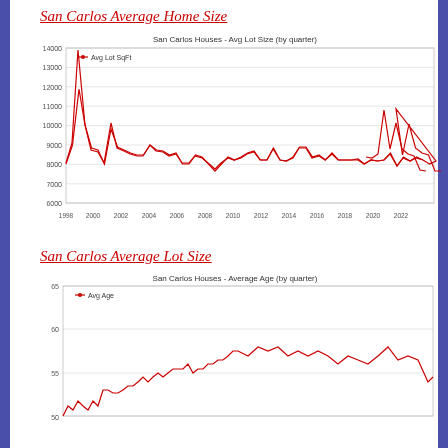San Carlos Average Home Size
[Figure (line-chart): San Carlos Houses - Avg Lot Size (by quarter)]
San Carlos Average Lot Size
[Figure (line-chart): San Carlos Houses - Average Age (by quarter)]